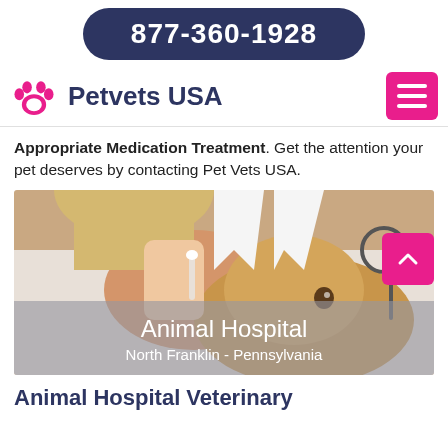877-360-1928
[Figure (logo): Petvets USA logo with pink paw print icon and dark navy text]
Appropriate Medication Treatment. Get the attention your pet deserves by contacting Pet Vets USA.
[Figure (photo): Veterinarian in white coat examining a golden/brown fluffy dog's ear with a cotton swab. Stethoscope visible. Overlay text reads: Animal Hospital, North Franklin - Pennsylvania]
Animal Hospital Veterinary